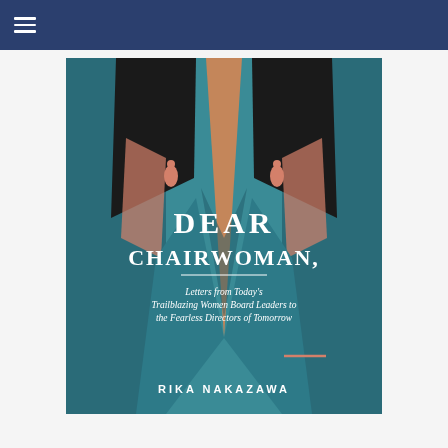Navigation bar with hamburger menu
[Figure (illustration): Book cover of 'Dear Chairwoman, Letters from Today's Trailblazing Women Board Leaders to the Fearless Directors of Tomorrow' by Rika Nakazawa. Illustrated cover showing a stylized figure of a woman in a teal blazer with salmon/coral earrings and dark hair, rendered in an art deco style. The title text is in white serif font on the teal background.]